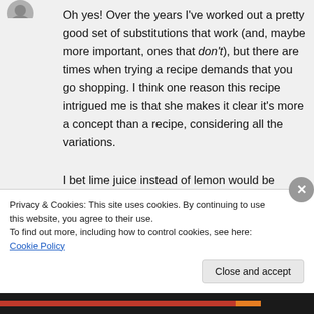Oh yes! Over the years I've worked out a pretty good set of substitutions that work (and, maybe more important, ones that don't), but there are times when trying a recipe demands that you go shopping. I think one reason this recipe intrigued me is that she makes it clear it's more a concept than a recipe, considering all the variations.

I bet lime juice instead of lemon would be
Privacy & Cookies: This site uses cookies. By continuing to use this website, you agree to their use.
To find out more, including how to control cookies, see here: Cookie Policy